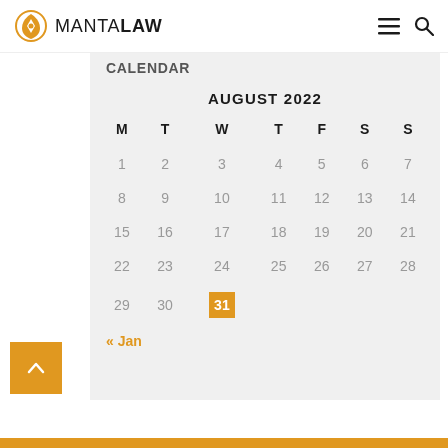MANTALAW
CALENDAR
| M | T | W | T | F | S | S |
| --- | --- | --- | --- | --- | --- | --- |
| 1 | 2 | 3 | 4 | 5 | 6 | 7 |
| 8 | 9 | 10 | 11 | 12 | 13 | 14 |
| 15 | 16 | 17 | 18 | 19 | 20 | 21 |
| 22 | 23 | 24 | 25 | 26 | 27 | 28 |
| 29 | 30 | 31 |  |  |  |  |
« Jan